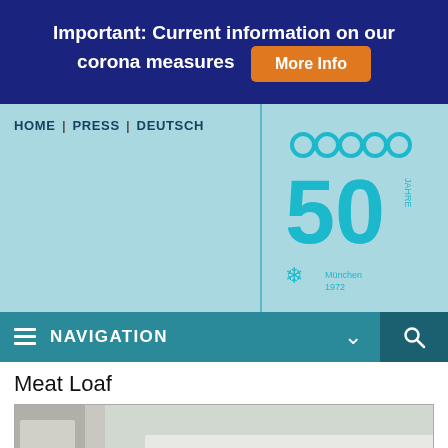Important: Current information on our corona measures  More Info
HOME | PRESS | DEUTSCH
[Figure (logo): Olympic rings logo with '50 Jahre München 1972' anniversary badge in teal/white]
NAVIGATION
Meat Loaf
[Figure (photo): A person with curly brownish-blonde hair bending forward in front of a banner reading 'OLYMPIC WALK', with what appears to be an event vehicle in the background.]